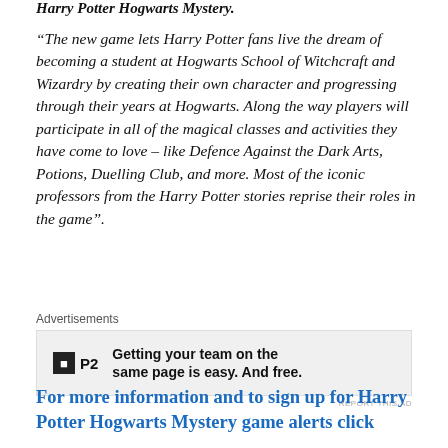Harry Potter Hogwarts Mystery.
“The new game lets Harry Potter fans live the dream of becoming a student at Hogwarts School of Witchcraft and Wizardry by creating their own character and progressing through their years at Hogwarts. Along the way players will participate in all of the magical classes and activities they have come to love – like Defence Against the Dark Arts, Potions, Duelling Club, and more. Most of the iconic professors from the Harry Potter stories reprise their roles in the game”.
Advertisements
[Figure (other): P2 advertisement: Getting your team on the same page is easy. And free.]
For more information and to sign up for Harry Potter Hogwarts Mystery game alerts click